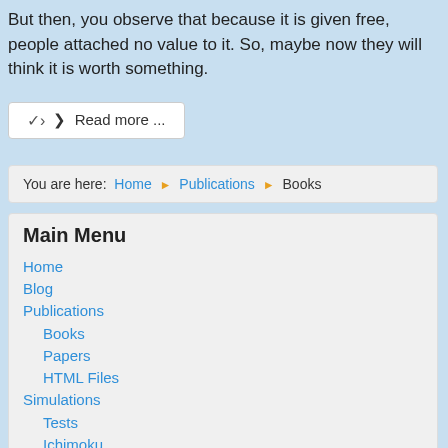But then, you observe that because it is given free, people attached no value to it. So, maybe now they will think it is worth something.
Read more ...
You are here:  Home  ▶  Publications  ▶  Books
Main Menu
Home
Blog
Publications
Books
Papers
HTML Files
Simulations
Tests
Ichimoku
Random Entries
Myst's XDEV
Turtles Tests
Livermore Challenge
Gyro Tests